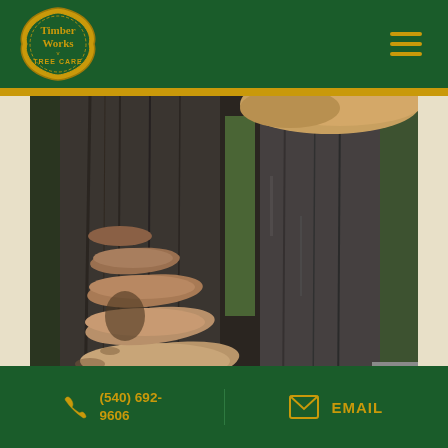Timber Works Tree Care
[Figure (photo): Close-up photo of bracket fungi / shelf mushrooms growing on the bark of a large tree trunk, with green forest background]
(540) 692-9606
EMAIL